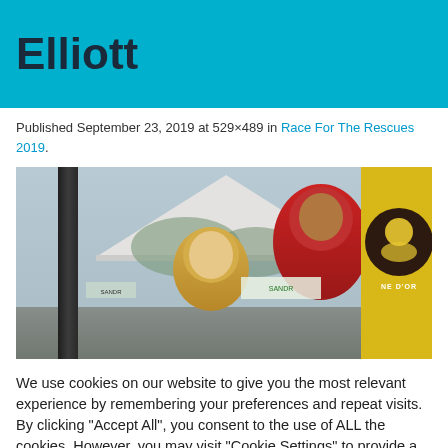Elliott
Published September 23, 2019 at 529×489 in Race For The Rescues 2019.
[Figure (photo): Outdoor event photo showing a young blond child in foreground, a person in a red hoodie behind them, white event tents, and a yellow shirt with a circular logo (NE D'OR) on the right side.]
We use cookies on our website to give you the most relevant experience by remembering your preferences and repeat visits. By clicking "Accept All", you consent to the use of ALL the cookies. However, you may visit "Cookie Settings" to provide a controlled consent.